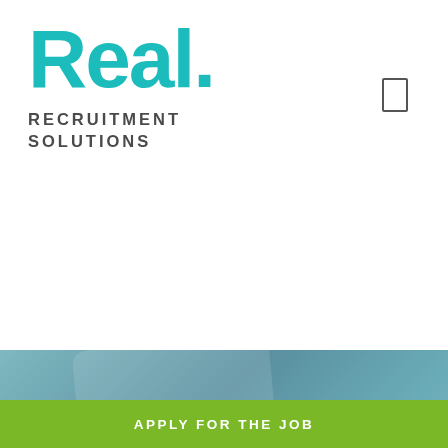[Figure (logo): Real. Recruitment Solutions logo with teal/turquoise bold text and dot]
[Figure (photo): Teal and blue-grey gradient banner with abstract light shape overlay, white card panel partially visible at bottom with a circular avatar element]
APPLY FOR THE JOB